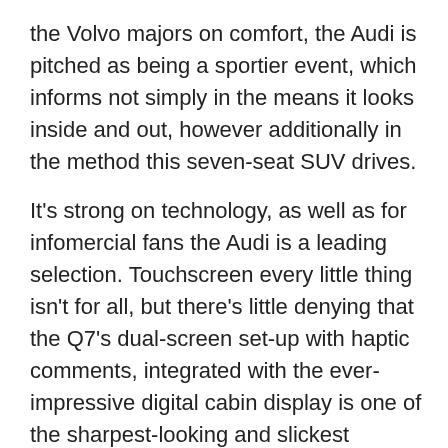the Volvo majors on comfort, the Audi is pitched as being a sportier event, which informs not simply in the means it looks inside and out, however additionally in the method this seven-seat SUV drives.
It's strong on technology, as well as for infomercial fans the Audi is a leading selection. Touchscreen every little thing isn't for all, but there's little denying that the Q7's dual-screen set-up with haptic comments, integrated with the ever-impressive digital cabin display is one of the sharpest-looking and slickest infomercial set-ups out there.
7. Mercedes GLS
If size issues, the Mercedes GLS is the area to look. Exclude the £ 250,000-plus Rolls-Royce Cullinan, and also you're taking a look at one of the largest SUVs on